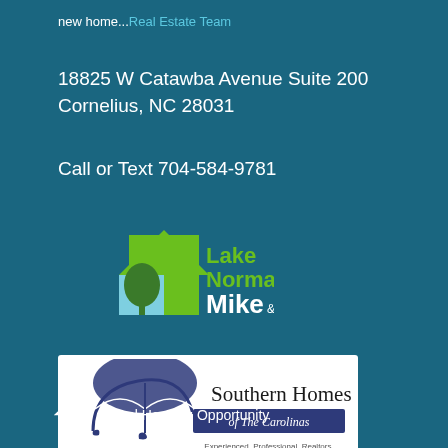new home...Real Estate Team
18825 W Catawba Avenue Suite 200
Cornelius, NC 28031
Call or Text 704-584-9781
[Figure (logo): Lake Norman Mike & Co logo with house icon in green and light blue, green text reading Lake Norman Mike & Co]
[Figure (logo): Southern Homes of The Carolinas logo with dark blue umbrella, text Southern Homes of The Carolinas, tagline Experienced. Professional. Realtors.]
Equal Housing Opportunity